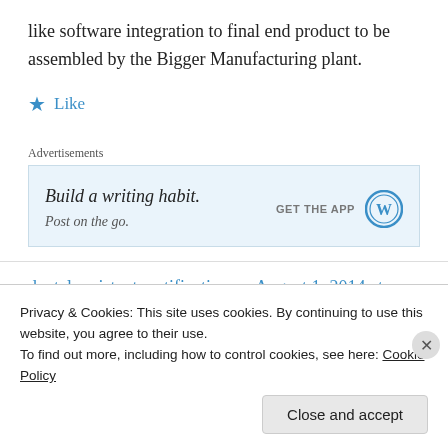like software integration to final end product to be assembled by the Bigger Manufacturing plant.
★ Like
Advertisements
[Figure (screenshot): WordPress advertisement: 'Build a writing habit.' with 'GET THE APP' button and WordPress logo]
dental assistant certification on August 1, 2014 at 1:22 am
Privacy & Cookies: This site uses cookies. By continuing to use this website, you agree to their use.
To find out more, including how to control cookies, see here: Cookie Policy
[Close and accept]